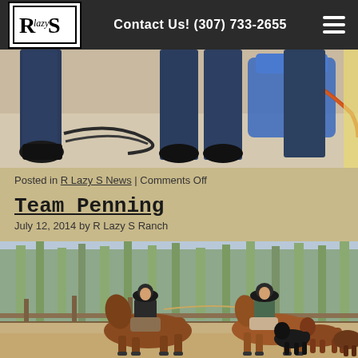Contact Us! (307) 733-2655
[Figure (photo): Close-up photo of people's legs/feet in jeans standing on a sandy/concrete floor with ropes and a blue tarp visible]
Posted in R Lazy S News | Comments Off
Team Penning
July 12, 2014 by R Lazy S Ranch
[Figure (photo): Two children on horseback wearing cowboy hats herding cattle in a corral with trees in the background]